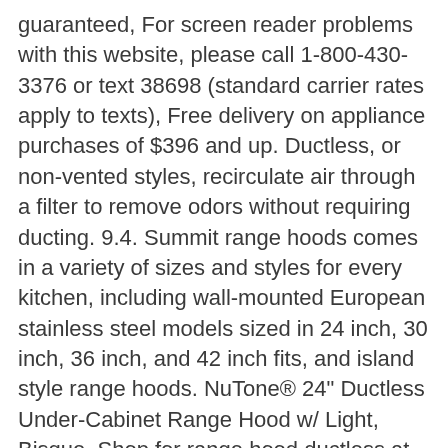guaranteed, For screen reader problems with this website, please call 1-800-430-3376 or text 38698 (standard carrier rates apply to texts), Free delivery on appliance purchases of $396 and up. Ductless, or non-vented styles, recirculate air through a filter to remove odors without requiring ducting. 9.4. Summit range hoods comes in a variety of sizes and styles for every kitchen, including wall-mounted European stainless steel models sized in 24 inch, 30 inch, 36 inch, and 42 inch fits, and island style range hoods. NuTone® 24" Ductless Under-Cabinet Range Hood w/ Light, Bisque. Shop for range hood ductless at Best Buy. Ducted styles vent irritants, odors and heat from your kitchen to the outside of your home. Remove smoke, steam and odors with a 30 or 36 inch under cabinet range hood from Bosch. Having said this, the ductless range hood â¦ â¦ 94 â¦ Add To List Click to add item Broan® 30" Ductless Under Cabinet Range Hood â¦